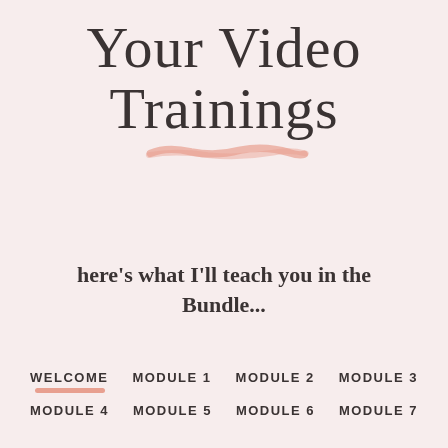Your Video Trainings
here's what I'll teach you in the Bundle...
WELCOME
MODULE 1
MODULE 2
MODULE 3
MODULE 4
MODULE 5
MODULE 6
MODULE 7